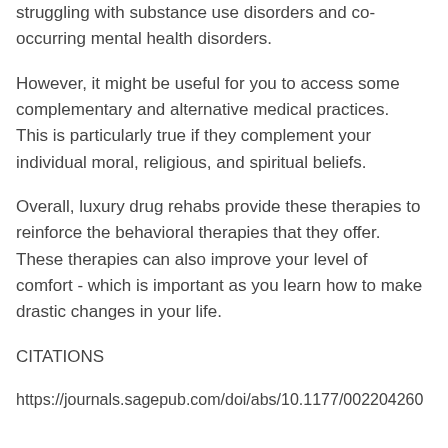struggling with substance use disorders and co-occurring mental health disorders.
However, it might be useful for you to access some complementary and alternative medical practices. This is particularly true if they complement your individual moral, religious, and spiritual beliefs.
Overall, luxury drug rehabs provide these therapies to reinforce the behavioral therapies that they offer. These therapies can also improve your level of comfort - which is important as you learn how to make drastic changes in your life.
CITATIONS
https://journals.sagepub.com/doi/abs/10.1177/002204260